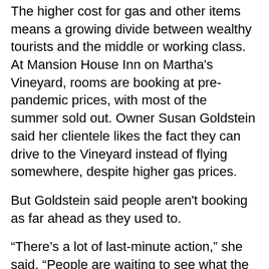The higher cost for gas and other items means a growing divide between wealthy tourists and the middle or working class. At Mansion House Inn on Martha's Vineyard, rooms are booking at pre-pandemic prices, with most of the summer sold out. Owner Susan Goldstein said her clientele likes the fact they can drive to the Vineyard instead of flying somewhere, despite higher gas prices.
But Goldstein said people aren't booking as far ahead as they used to.
“There’s a lot of last-minute action,” she said. “People are waiting to see what the world is offering.”
A labor crunch is putting pressure on many small businesses this summer, too. To staff her two Cinnaholic vegan cinnamon bun bakeries in Tennessee, Holly Roe has had to raise wages — and hire a lot more teenagers.